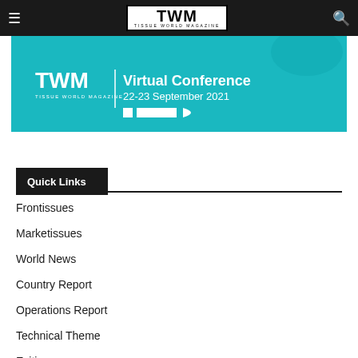TWM TISSUE WORLD MAGAZINE
[Figure (illustration): TWM Virtual Conference banner with teal background. Text reads: TWM TISSUE WORLD MAGAZINE Virtual Conference 22-23 September 2021]
Quick Links
Frontissues
Marketissues
World News
Country Report
Operations Report
Technical Theme
Exitissues